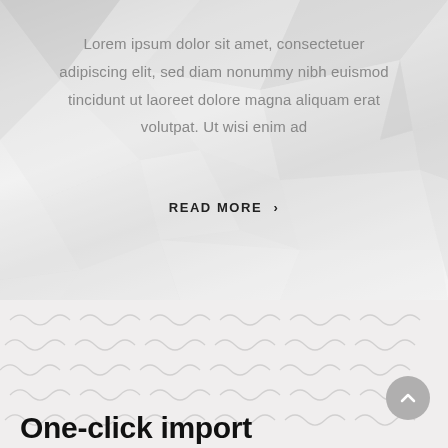[Figure (illustration): Abstract low-poly geometric background in light grey tones]
Lorem ipsum dolor sit amet, consectetuer adipiscing elit, sed diam nonummy nibh euismod tincidunt ut laoreet dolore magna aliquam erat volutpat. Ut wisi enim ad
READ MORE >
[Figure (illustration): Light grey background with faint squiggly line pattern texture]
One-click import